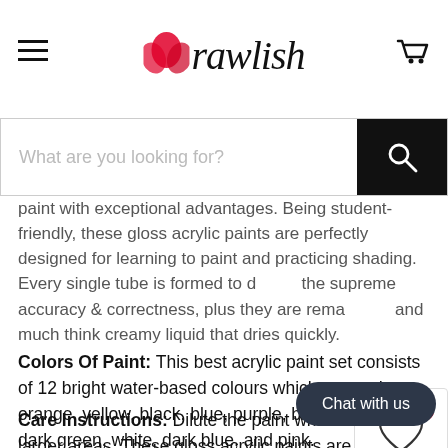Drawlish — navigation header with logo, hamburger menu, and cart icon
What are you looking for? [search bar]
paint with exceptional advantages. Being student-friendly, these gloss acrylic paints are perfectly designed for learning to paint and practicing shading. Every single tube is formed to d the supreme accuracy & correctness, plus they are rema and much think creamy liquid that dries quickly.
Colors Of Paint: This best acrylic paint set consists of 12 bright water-based colours which are; red, orange, yellow, black, blue, purple, brown, green, dark green, white, dark blue, and pink.
Care Instructions: Dilute the paint wh larger areas. These gloss acrylic paints are highly resistant to water